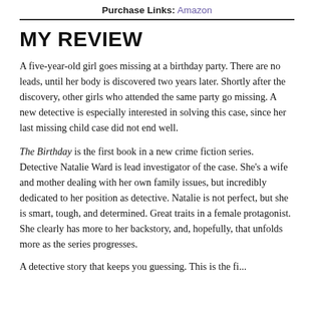Purchase Links: Amazon
MY REVIEW
A five-year-old girl goes missing at a birthday party. There are no leads, until her body is discovered two years later. Shortly after the discovery, other girls who attended the same party go missing. A new detective is especially interested in solving this case, since her last missing child case did not end well.
The Birthday is the first book in a new crime fiction series. Detective Natalie Ward is lead investigator of the case. She’s a wife and mother dealing with her own family issues, but incredibly dedicated to her position as detective. Natalie is not perfect, but she is smart, tough, and determined. Great traits in a female protagonist. She clearly has more to her backstory, and, hopefully, that unfolds more as the series progresses.
A detective story that keeps you guessing. This is the fi...